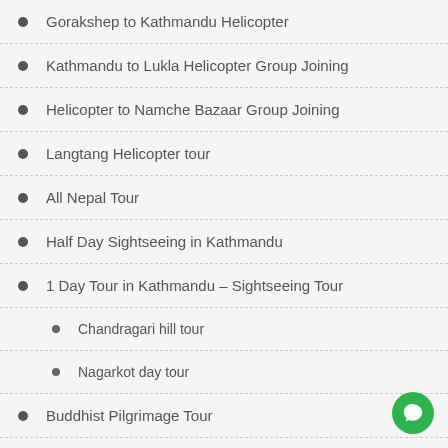Gorakshep to Kathmandu Helicopter
Kathmandu to Lukla Helicopter Group Joining
Helicopter to Namche Bazaar Group Joining
Langtang Helicopter tour
All Nepal Tour
Half Day Sightseeing in Kathmandu
1 Day Tour in Kathmandu – Sightseeing Tour
Chandragari hill tour
Nagarkot day tour
Buddhist Pilgrimage Tour